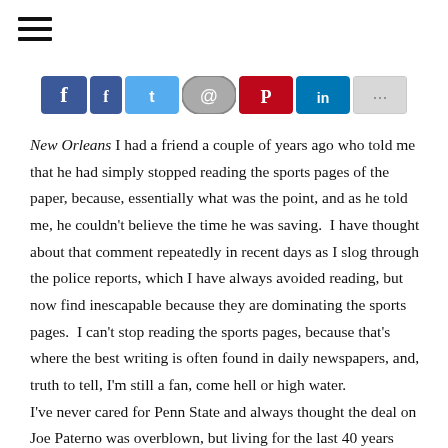[Figure (other): Hamburger menu icon (three horizontal lines) in top left corner]
[Figure (other): Row of social sharing buttons: Facebook (x2), Twitter, Email, Pinterest, LinkedIn, More]
New Orleans I had a friend a couple of years ago who told me that he had simply stopped reading the sports pages of the paper, because, essentially what was the point, and as he told me, he couldn't believe the time he was saving. I have thought about that comment repeatedly in recent days as I slog through the police reports, which I have always avoided reading, but now find inescapable because they are dominating the sports pages. I can't stop reading the sports pages, because that's where the best writing is often found in daily newspapers, and, truth to tell, I'm still a fan, come hell or high water.
I've never cared for Penn State and always thought the deal on Joe Paterno was overblown, but living for the last 40 years between Arkansas and Louisiana, mixed in with relatives from Oklahoma,